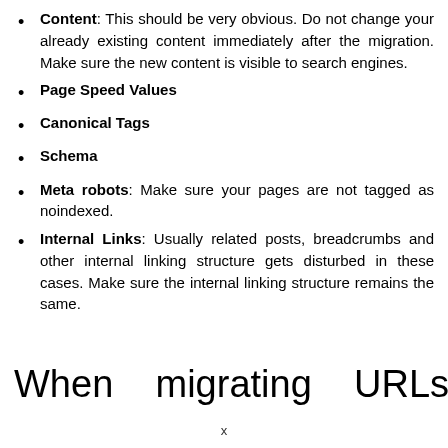Content: This should be very obvious. Do not change your already existing content immediately after the migration. Make sure the new content is visible to search engines.
Page Speed Values
Canonical Tags
Schema
Meta robots: Make sure your pages are not tagged as noindexed.
Internal Links: Usually related posts, breadcrumbs and other internal linking structure gets disturbed in these cases. Make sure the internal linking structure remains the same.
When migrating URLs are